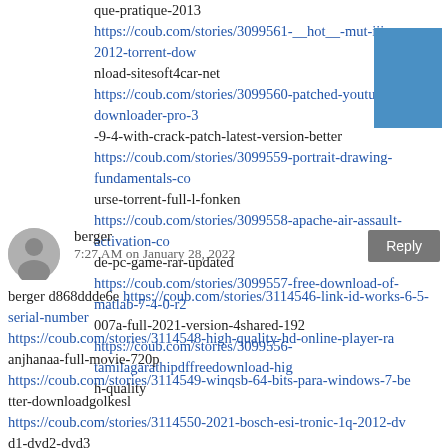que-pratique-2013 https://coub.com/stories/3099561-__hot__-mut-iii-2012-torrent-download-sitesoft4car-net https://coub.com/stories/3099560-patched-youtube-downloader-pro-3-9-4-with-crack-patch-latest-version-better https://coub.com/stories/3099559-portrait-drawing-fundamentals-course-torrent-full-l-fonken https://coub.com/stories/3099558-apache-air-assault-activation-code-pc-game-rar-updated https://coub.com/stories/3099557-free-download-of-matlab-7-4-0-r2007a-full-2021-version-4shared-192 https://coub.com/stories/3099556-tamilagarathipdffreedownload-high-quality
[Figure (illustration): Blue square box]
berger
7:27 AM on January 28, 2022
Reply
berger d868ddde6e https://coub.com/stories/3114546-link-id-works-6-5-serial-number https://coub.com/stories/3114548-high-quality-hd-online-player-raanjhanaa-full-movie-720p https://coub.com/stories/3114549-winqsb-64-bits-para-windows-7-better-downloadgolkesl https://coub.com/stories/3114550-2021-bosch-esi-tronic-1q-2012-dvd1-dvd2-dvd3 https://coub.com/stories/3114551-photo-stamp-remover-9-1-crack-serial-key-full-download-2019-franvin https://coub.com/stories/3114553-holiday-island-free-download-ful